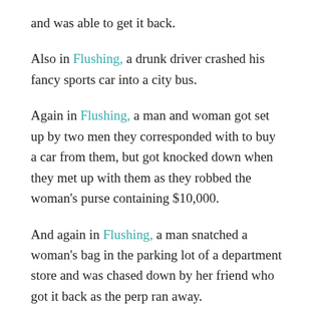and was able to get it back.
Also in Flushing, a drunk driver crashed his fancy sports car into a city bus.
Again in Flushing, a man and woman got set up by two men they corresponded with to buy a car from them, but got knocked down when they met up with them as they robbed the woman's purse containing $10,000.
And again in Flushing, a man snatched a woman's bag in the parking lot of a department store and was chased down by her friend who got it back as the perp ran away.
And again in Flushing, a 76-year-old man attempted